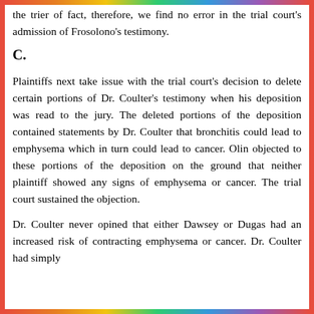the trier of fact, therefore, we find no error in the trial court's admission of Frosolono's testimony.
C.
Plaintiffs next take issue with the trial court's decision to delete certain portions of Dr. Coulter's testimony when his deposition was read to the jury. The deleted portions of the deposition contained statements by Dr. Coulter that bronchitis could lead to emphysema which in turn could lead to cancer. Olin objected to these portions of the deposition on the ground that neither plaintiff showed any signs of emphysema or cancer. The trial court sustained the objection.
Dr. Coulter never opined that either Dawsey or Dugas had an increased risk of contracting emphysema or cancer. Dr. Coulter had simply